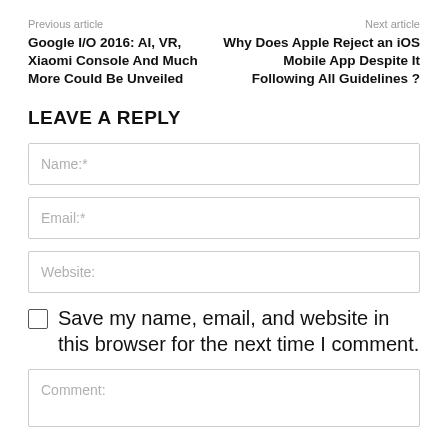Previous article
Google I/O 2016: AI, VR, Xiaomi Console And Much More Could Be Unveiled
Next article
Why Does Apple Reject an iOS Mobile App Despite It Following All Guidelines ?
LEAVE A REPLY
Name:*
Email:*
Website:
Save my name, email, and website in this browser for the next time I comment.
Comment: